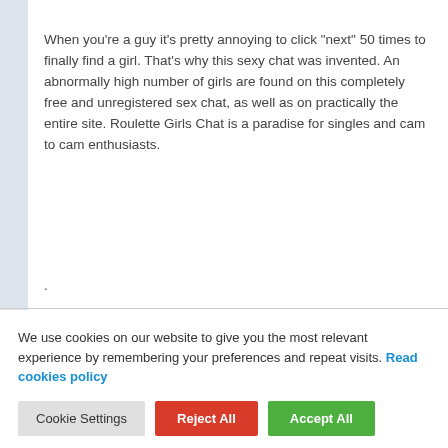When you're a guy it's pretty annoying to click "next" 50 times to finally find a girl. That's why this sexy chat was invented. An abnormally high number of girls are found on this completely free and unregistered sex chat, as well as on practically the entire site. Roulette Girls Chat is a paradise for singles and cam to cam enthusiasts.
.
We use cookies on our website to give you the most relevant experience by remembering your preferences and repeat visits. Read cookies policy